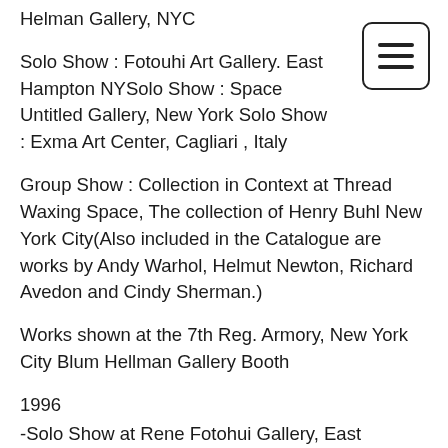Helman Gallery, NYC
Solo Show : Fotouhi Art Gallery. East Hampton NYSolo Show : Space Untitled Gallery, New York Solo Show : Exma Art Center, Cagliari , Italy
Group Show : Collection in Context at Thread Waxing Space, The collection of Henry Buhl New York City(Also included in the Catalogue are works by Andy Warhol, Helmut Newton, Richard Avedon and Cindy Sherman.)
Works shown at the 7th Reg. Armory, New York City Blum Hellman Gallery Booth
1996
-Solo Show at Rene Fotohui Gallery, East Hampton , NY
-Group Show : Robert Morris Gallery, New York City